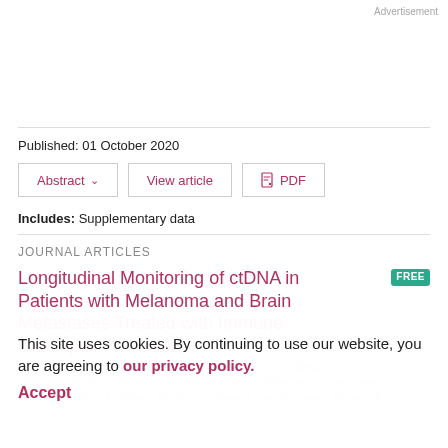Advertisement
Published: 01 October 2020
Abstract ∨   View article   PDF
Includes: Supplementary data
JOURNAL ARTICLES
Longitudinal Monitoring of ctDNA in Patients with Melanoma and Brain Metastases Treated with Immune Checkpoint Inhibitors
This site uses cookies. By continuing to use our website, you are agreeing to our privacy policy.
Accept
Alexander M. Menzies, Matteo S. Carlino, Ashleigh C. McEvoy, Shahneen Sandhu, Alison M. Weppler, Russell J. Diefenbach, Sarah-Jane Dawson, Richard F. Kefford, Michael J. Millward, Sandra Contu, Timothy E. Schlub